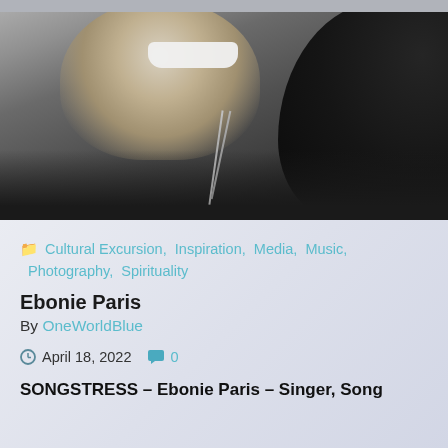[Figure (photo): Black and white close-up photo of a smiling woman with curly hair wearing a chain necklace and dark jacket]
Cultural Excursion, Inspiration, Media, Music, Photography, Spirituality
Ebonie Paris
By OneWorldBlue
April 18, 2022   0
SONGSTRESS – Ebonie Paris – Singer, Song